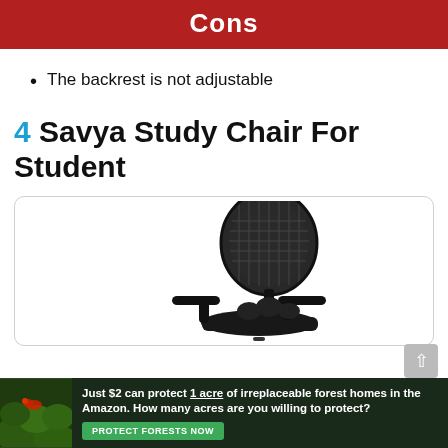Cons
The backrest is not adjustable
4 Savya Study Chair For Student
[Figure (photo): Product photo of a black mesh study chair with armrests against a white background, shown from a rear-angled view inside a rounded border box.]
[Figure (infographic): Advertisement banner: dark green background with jungle/amazon imagery on left. Text reads 'Just $2 can protect 1 acre of irreplaceable forest homes in the Amazon. How many acres are you willing to protect?' with a green 'PROTECT FORESTS NOW' button.]